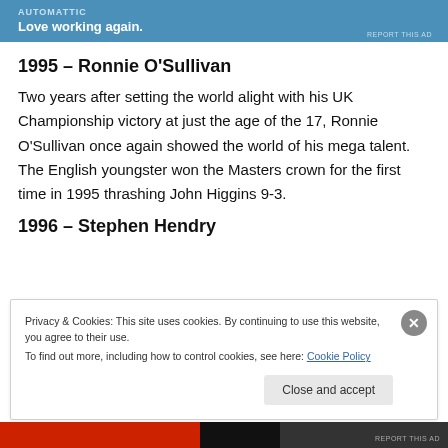[Figure (other): Advertisement banner with blue background, Automattic logo text, and tagline 'Love working again.']
1995 – Ronnie O'Sullivan
Two years after setting the world alight with his UK Championship victory at just the age of the 17, Ronnie O'Sullivan once again showed the world of his mega talent. The English youngster won the Masters crown for the first time in 1995 thrashing John Higgins 9-3.
1996 – Stephen Hendry
Privacy & Cookies: This site uses cookies. By continuing to use this website, you agree to their use.
To find out more, including how to control cookies, see here: Cookie Policy